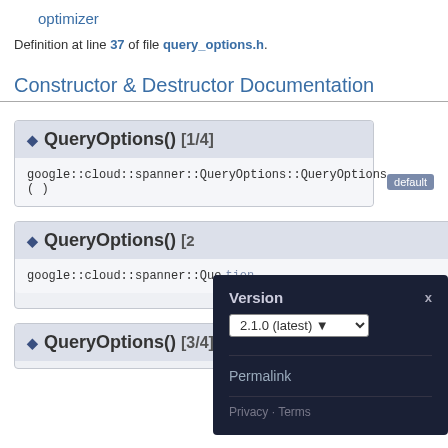optimizer
Definition at line 37 of file query_options.h.
Constructor & Destructor Documentation
◆ QueryOptions() [1/4]
google::cloud::spanner::QueryOptions::QueryOptions ( )  default
◆ QueryOptions() [2/4]
google::cloud::spanner::QueryOptions::Que...tion
◆ QueryOptions() [3/4]
Version
2.1.0 (latest)
Permalink
Privacy · Terms